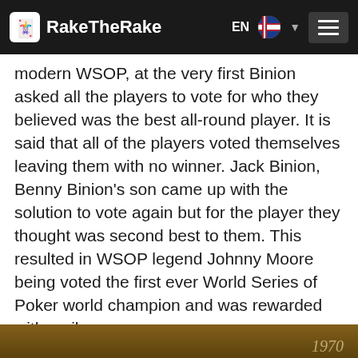RakeTheRake
modern WSOP, at the very first Binion asked all the players to vote for who they believed was the best all-round player. It is said that all of the players voted themselves leaving them with no winner. Jack Binion, Benny Binion's son came up with the solution to vote again but for the player they thought was second best to them. This resulted in WSOP legend Johnny Moore being voted the first ever World Series of Poker world champion and was rewarded with a silver cup.
Not only was Johnny Moore the player of the year in 1970 but the first player to win three WSOP tournaments and not so far apart, his second in 1971 and his third in 1974.
[Figure (photo): Bottom strip of a vintage photograph, brownish/sepia toned, partially visible, with text '1970' visible at the bottom right]